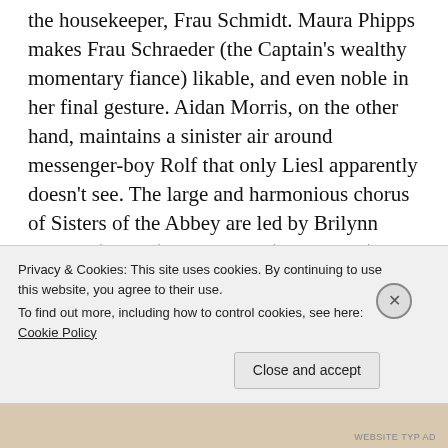the housekeeper, Frau Schmidt. Maura Phipps makes Frau Schraeder (the Captain's wealthy momentary fiance) likable, and even noble in her final gesture. Aidan Morris, on the other hand, maintains a sinister air around messenger-boy Rolf that only Liesl apparently doesn't see. The large and harmonious chorus of Sisters of the Abbey are led by Brilynn Knauss (Berthe), Kat Seiple (Margaretta) and Gemma Rollison (Sophia). And we look forward to the energetic Nathan Ellenberger, here as conniving Max Detweiler, chewing up scenes
Privacy & Cookies: This site uses cookies. By continuing to use this website, you agree to their use.
To find out more, including how to control cookies, see here: Cookie Policy
Close and accept